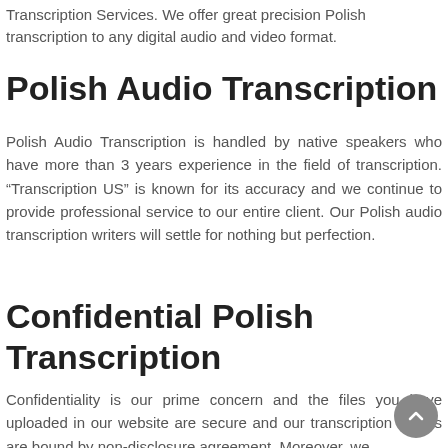Transcription Services. We offer great precision Polish transcription to any digital audio and video format.
Polish Audio Transcription
Polish Audio Transcription is handled by native speakers who have more than 3 years experience in the field of transcription. “Transcription US” is known for its accuracy and we continue to provide professional service to our entire client. Our Polish audio transcription writers will settle for nothing but perfection.
Confidential Polish Transcription
Confidentiality is our prime concern and the files you have uploaded in our website are secure and our transcription writers are bound by non-disclosure agreement. Moreover, we